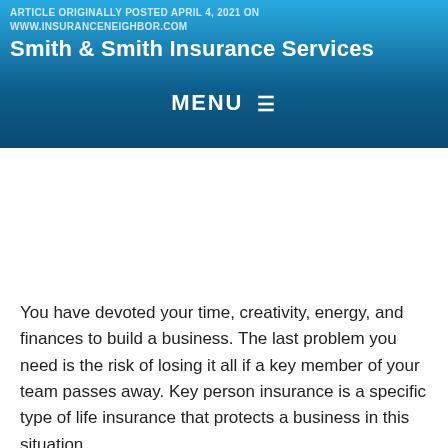ARTICLE ORIGINALLY POSTED APRIL 4, 2021 ON WWW.INSURANCENEIGHBOR.COM
Smith & Smith Insurance Services
MENU ≡
You have devoted your time, creativity, energy, and finances to build a business. The last problem you need is the risk of losing it all if a key member of your team passes away. Key person insurance is a specific type of life insurance that protects a business in this situation.